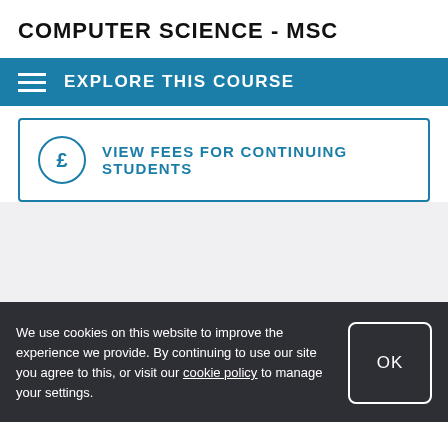COMPUTER SCIENCE - MSC
EXPLORE THIS COURSE
VIEW FEES FOR CONTINUING STUDENTS
We use cookies on this website to improve the experience we provide. By continuing to use our site you agree to this, or visit our cookie policy to manage your settings.